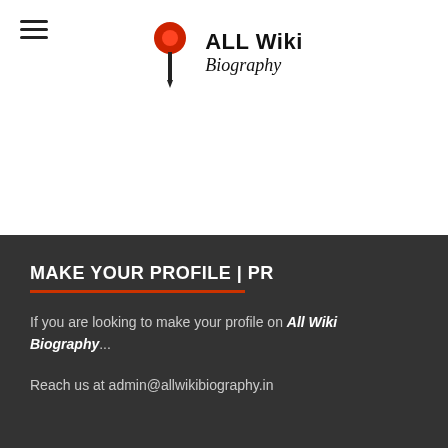ALL Wiki Biography
MAKE YOUR PROFILE | PR
If you are looking to make your profile on All Wiki Biography...
Reach us at admin@allwikibiography.in